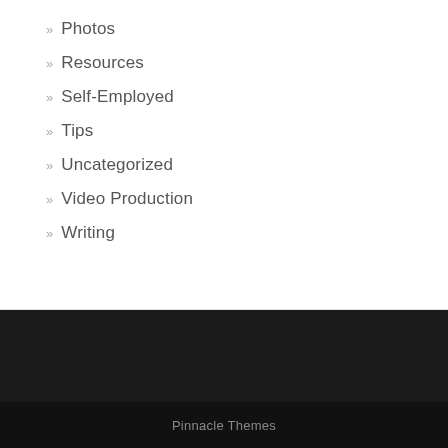Photos
Resources
Self-Employed
Tips
Uncategorized
Video Production
Writing
Pinnacle Themes